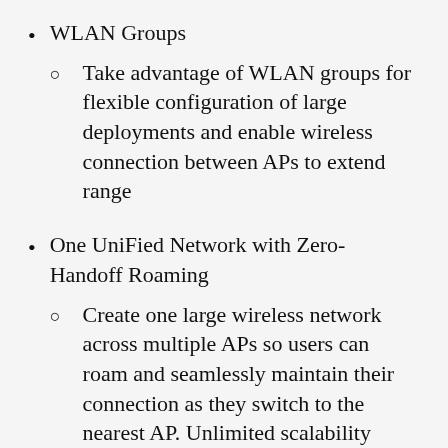WLAN Groups
Take advantage of WLAN groups for flexible configuration of large deployments and enable wireless connection between APs to extend range
One UniFied Network with Zero-Handoff Roaming
Create one large wireless network across multiple APs so users can roam and seamlessly maintain their connection as they switch to the nearest AP. Unlimited scalability
Intuitive UniFi Controller Software